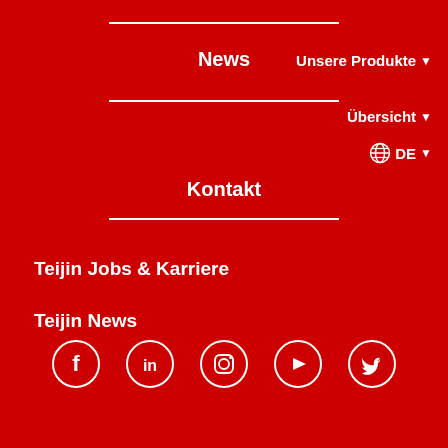News
Kontakt
Unsere Produkte
Übersicht
DE
Teijin Jobs & Karriere
Teijin News
[Figure (other): Social media icons: Facebook, LinkedIn, Instagram, YouTube, Twitter — white circle outlines on red background]